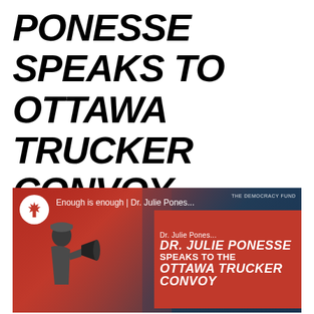PONESSE SPEAKS TO OTTAWA TRUCKER CONVOY — SUNNY'S JOURNAL
[Figure (screenshot): Video thumbnail showing Dr. Julie Ponesse speaking at the Ottawa Trucker Convoy. A person with a megaphone is visible on the left. A red banner on the right reads 'DR. JULIE PONESSE SPEAKS TO THE OTTAWA TRUCKER CONVOY'. A Canadian maple leaf logo is in the top left with text 'Enough is enough | Dr. Julie Pones...' Top right shows 'THE DEMOCRACY FUND'.]